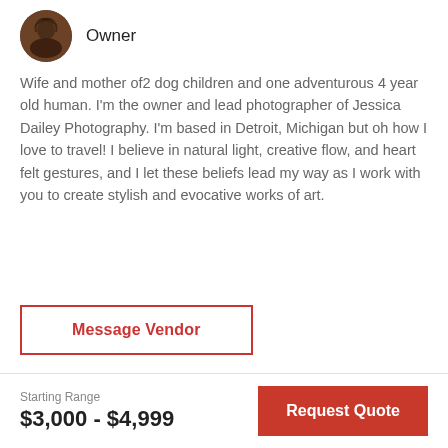[Figure (photo): Circular profile photo of a person with dark curly hair]
Owner
Wife and mother of2 dog children and one adventurous 4 year old human. I'm the owner and lead photographer of Jessica Dailey Photography. I'm based in Detroit, Michigan but oh how I love to travel! I believe in natural light, creative flow, and heart felt gestures, and I let these beliefs lead my way as I work with you to create stylish and evocative works of art.
Message Vendor
Starting Range
$3,000 - $4,999
Request Quote